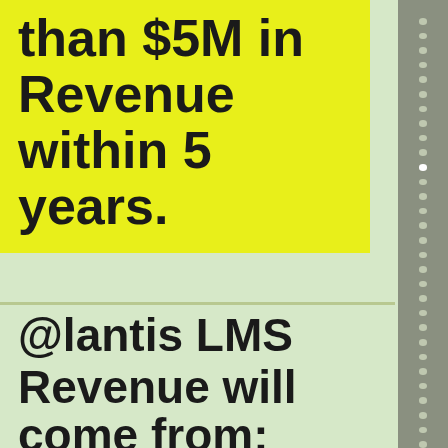than $5M in Revenue within 5 years.
@lantis LMS Revenue will come from:
Sale of Premium Content (created by Community Members